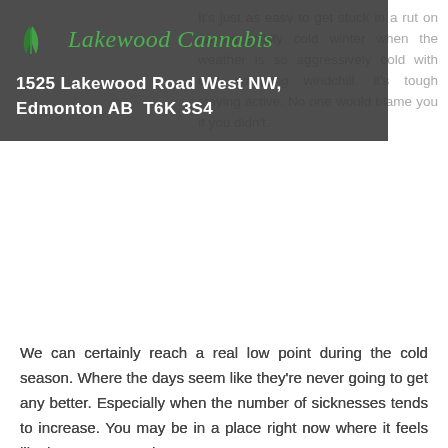[Figure (logo): Lakewood Cannabis logo with green leaf icon and italic green text]
1525 Lakewood Road West NW, Edmonton AB  T6K 3S4
It's just as easy to get stuck in a rut on an especially cold winter when the weather is so aggressively cold with that whipping windchill, it's tough staying active. No one would blame you if you didn't.
We can certainly reach a real low point during the cold season. Where the days seem like they're never going to get any better. Especially when the number of sicknesses tends to increase. You may be in a place right now where it feels like it won't get any better.
If today was bad, tomorrow still needs to be given its proper due, before you unceremoniously write it off. The sadness may appear like it's lasting twice as long as it should. Even though it goes on for a supposedly